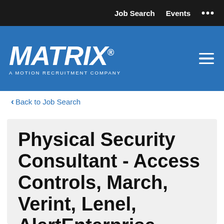Job Search   Events   ...
[Figure (logo): MATRIX - A MOTION RECRUITMENT COMPANY logo in white italic bold text on blue background]
< Back to Job Search
Physical Security Consultant - Access Controls, March, Verint, Lenel, AlertEnterprise